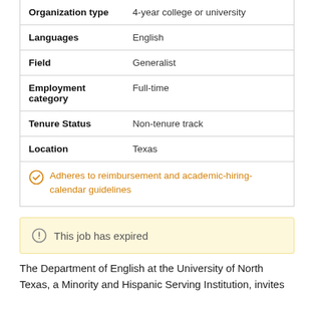| Field | Value |
| --- | --- |
| Organization type | 4-year college or university |
| Languages | English |
| Field | Generalist |
| Employment category | Full-time |
| Tenure Status | Non-tenure track |
| Location | Texas |
Adheres to reimbursement and academic-hiring-calendar guidelines
This job has expired
The Department of English at the University of North Texas, a Minority and Hispanic Serving Institution, invites applications from the broader committee. The...